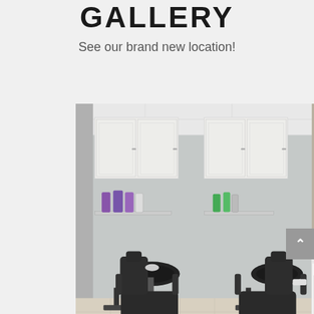GALLERY
See our brand new location!
[Figure (photo): Interior of a hair salon showing two black shampoo bowl chairs with attached sinks against a gray wall, white upper cabinets, product bottles on floating shelves, and a sink counter area in the background right. Tile floor visible.]